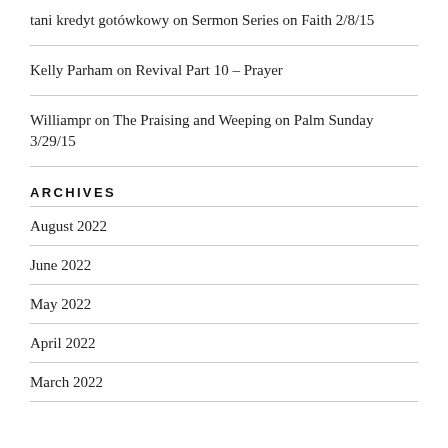tani kredyt gotówkowy on Sermon Series on Faith 2/8/15
Kelly Parham on Revival Part 10 – Prayer
Williampr on The Praising and Weeping on Palm Sunday 3/29/15
ARCHIVES
August 2022
June 2022
May 2022
April 2022
March 2022